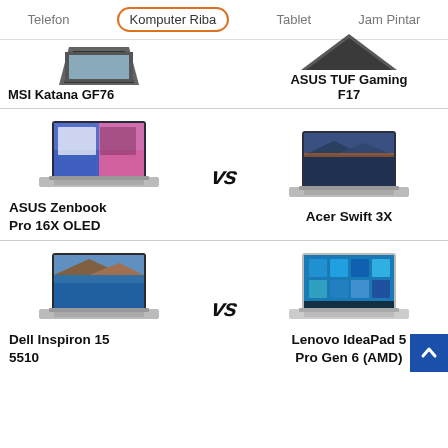Telefon | Komputer Riba | Tablet | Jam Pintar
[Figure (screenshot): Partial view of MSI Katana GF76 laptop image (top cropped)]
MSI Katana GF76
[Figure (screenshot): Partial view of ASUS TUF Gaming F17 laptop image (top cropped)]
ASUS TUF Gaming F17
[Figure (screenshot): ASUS Zenbook Pro 16X OLED laptop image]
ASUS Zenbook Pro 16X OLED
[Figure (screenshot): VS logo between comparisons]
[Figure (screenshot): Acer Swift 3X laptop image]
Acer Swift 3X
[Figure (screenshot): Dell Inspiron 15 5510 laptop image]
Dell Inspiron 15 5510
[Figure (screenshot): VS logo between comparisons]
[Figure (screenshot): Lenovo IdeaPad 5 Pro Gen 6 (AMD) laptop image]
Lenovo IdeaPad 5 Pro Gen 6 (AMD)